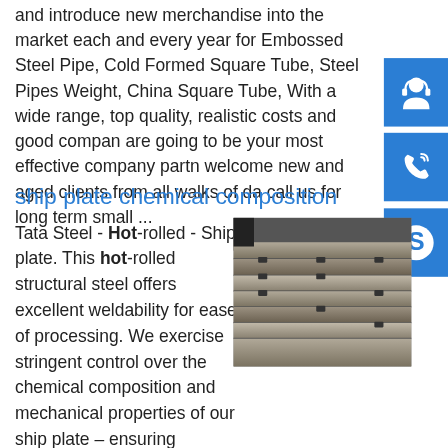and introduce new merchandise into the market each and every year for Embossed Steel Pipe, Cold Formed Square Tube, Steel Pipes Weight, China Square Tube, With a wide range, top quality, realistic costs and good company are going to be your most effective company partner welcome new and aged clients from all walks of day call us for long term small ...
[Figure (illustration): Blue square icon with white headset/customer support symbol]
[Figure (illustration): Blue square icon with white telephone/call symbol]
[Figure (illustration): Blue square icon with white Skype logo symbol]
ship plate chemical composition
Tata Steel - Hot-rolled - Ship plate. This hot-rolled structural steel offers excellent weldability for ease of processing. We exercise stringent control over the chemical composition and mechanical properties of our ship plate – ensuring products of consistent and reliable quality for demanding marine applications.sp.info Chegg Study Questions and
[Figure (photo): Photo of stacked steel plates/sheets showing layered metal material]